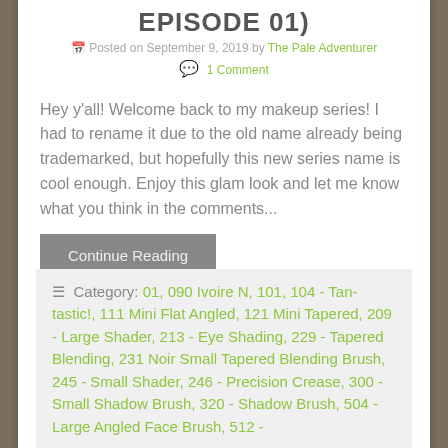EPISODE 01)
Posted on September 9, 2019 by The Pale Adventurer
1 Comment
Hey y'all! Welcome back to my makeup series! I had to rename it due to the old name already being trademarked, but hopefully this new series name is cool enough. Enjoy this glam look and let me know what you think in the comments...
Continue Reading
Category: 01, 090 Ivoire N, 101, 104 - Tan-tastic!, 111 Mini Flat Angled, 121 Mini Tapered, 209 - Large Shader, 213 - Eye Shading, 229 - Tapered Blending, 231 Noir Small Tapered Blending Brush, 245 - Small Shader, 246 - Precision Crease, 300 - Small Shadow Brush, 320 - Shadow Brush, 504 - Large Angled Face Brush, 512 -